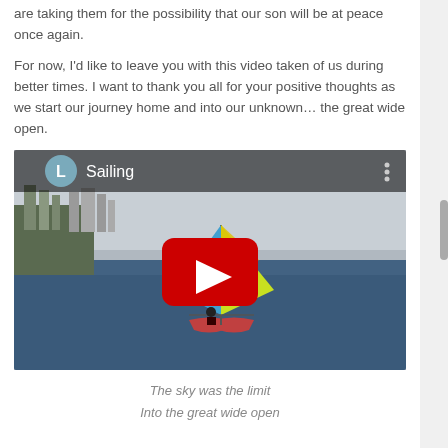are taking them for the possibility that our son will be at peace once again.
For now, I’d like to leave you with this video taken of us during better times. I want to thank you all for your positive thoughts as we start our journey home and into our unknown… the great wide open.
[Figure (screenshot): YouTube video embed showing a sailing catamaran on the ocean with a colorful sail, cityscape in background. Video title bar shows 'L Sailing' with a YouTube play button overlay.]
The sky was the limit
Into the great wide open